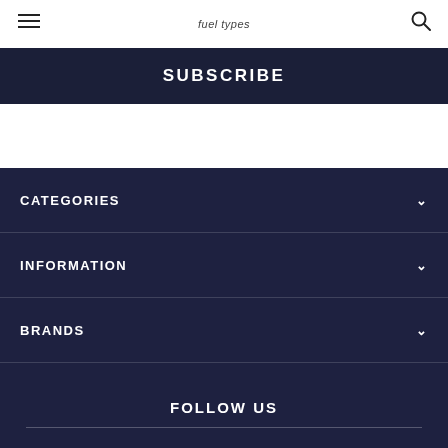Fuel Types (logo)
SUBSCRIBE
CATEGORIES
INFORMATION
BRANDS
FOLLOW US